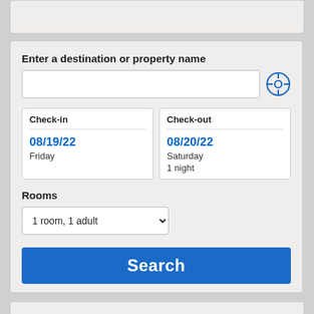[Figure (screenshot): Partial top card (white/light grey panel) at top of page]
Enter a destination or property name
[Figure (other): Text input field for destination and a blue circular crosshair/locate button]
Check-in
08/19/22
Friday
Check-out
08/20/22
Saturday
1 night
Rooms
1 room, 1 adult
Search